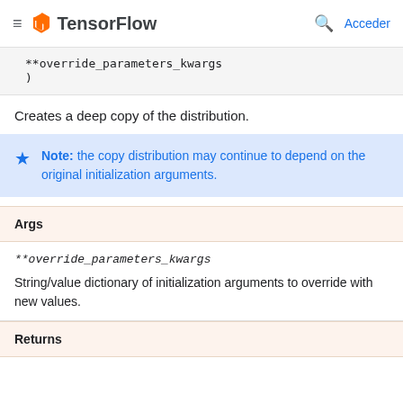≡ TensorFlow  🔍 Acceder
**override_parameters_kwargs
)
Creates a deep copy of the distribution.
Note: the copy distribution may continue to depend on the original initialization arguments.
| Args |
| --- |
| **override_parameters_kwargs | String/value dictionary of initialization arguments to override with new values. |
Returns